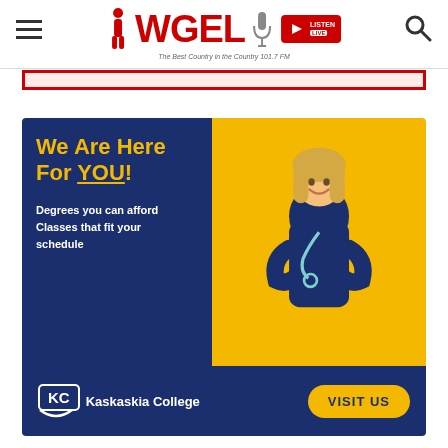WGEL — The Best Country in the Country 101.7 FM
[Figure (illustration): WGEL radio station logo with microphone icon and Listen Live button]
[Figure (infographic): Kaskaskia College advertisement: 'We Are Here For YOU! Degrees you can afford. Classes that fit your schedule.' with nurse in scrubs and stethoscope, and Visit Us button]
We Are Here For YOU!
Degrees you can afford
Classes that fit your schedule
Kaskaskia College  VISIT US